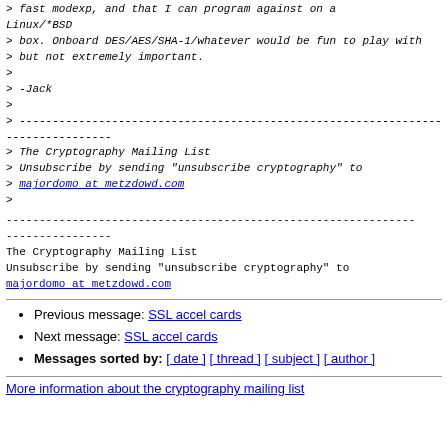> fast modexp, and that I can program against on a Linux/*BSD
> box. Onboard DES/AES/SHA-1/whatever would be fun to play with
> but not extremely important.
>
> -Jack
>
> --------------------------------------------------------------
------------------
> The Cryptography Mailing List
> Unsubscribe by sending "unsubscribe cryptography" to
> majordomo at metzdowd.com
>
--------------------------------------------------------------
----------------
The Cryptography Mailing List
Unsubscribe by sending "unsubscribe cryptography" to
majordomo at metzdowd.com
Previous message: SSL accel cards
Next message: SSL accel cards
Messages sorted by: [ date ] [ thread ] [ subject ] [ author ]
More information about the cryptography mailing list